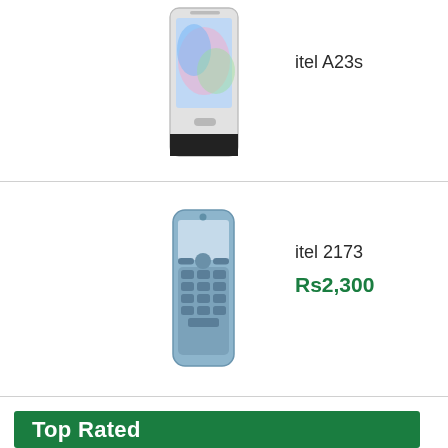[Figure (photo): itel A23s smartphone product photo, partially visible at top]
itel A23s
[Figure (photo): itel 2173 feature phone product photo]
itel 2173
Rs2,300
Top Rated
[Figure (photo): Samsung Galaxy Note20 Ultra smartphone product photo]
Samsung Galaxy Note20 Ultra
Rs229,000